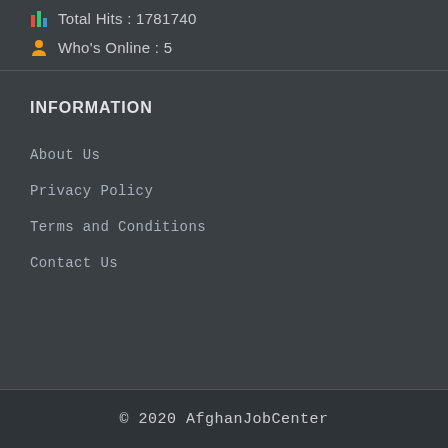Total Hits : 1781740
Who's Online : 5
INFORMATION
About Us
Privacy Policy
Terms and Conditions
Contact Us
© 2020 AfghanJobCenter